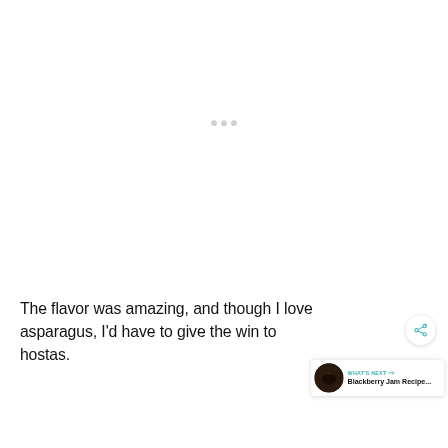[Figure (other): Loading indicator with three gray dots centered on a white background]
The flavor was amazing, and though I love asparagus, I'd have to give the win to hostas.
[Figure (other): Share button (circular with share icon) overlaying text area, and a 'WHAT'S NEXT' card showing 'Blackberry Jam Recipe...' with a circular food image]